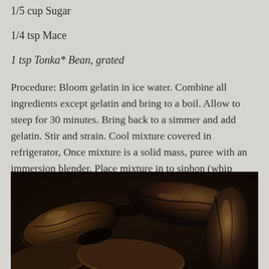1/5 cup Sugar
1/4 tsp Mace
1 tsp Tonka* Bean, grated
Procedure: Bloom gelatin in ice water. Combine all ingredients except gelatin and bring to a boil. Allow to steep for 30 minutes. Bring back to a simmer and add gelatin. Stir and strain. Cool mixture covered in refrigerator, Once mixture is a solid mass, puree with an immersion blender. Place mixture in to siphon (whip cream charger), and charge with 1 capsule of nitrous oxide. *Buy tonka bean online at www.souschef.co.uk/tonka-beans.html or at www.silkroadspices.ca/products/tonka-beans
[Figure (photo): Close-up photograph of dark tonka beans with textured, wrinkled surfaces]